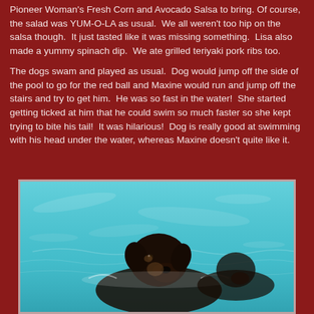Pioneer Woman's Fresh Corn and Avocado Salsa to bring. Of course, the salad was YUM-O-LA as usual.  We all weren't too hip on the salsa though.  It just tasted like it was missing something.  Lisa also made a yummy spinach dip.  We ate grilled teriyaki pork ribs too.
The dogs swam and played as usual.  Dog would jump off the side of the pool to go for the red ball and Maxine would run and jump off the stairs and try to get him.  He was so fast in the water!  She started getting ticked at him that he could swim so much faster so she kept trying to bite his tail!  It was hilarious!  Dog is really good at swimming with his head under the water, whereas Maxine doesn't quite like it.
[Figure (photo): A black dog swimming in a pool with turquoise/teal water. The dog's head is visible above the water surface, appearing to be swimming.]